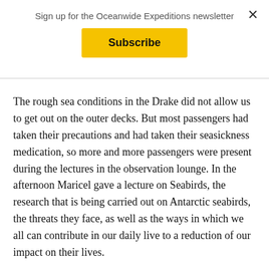Sign up for the Oceanwide Expeditions newsletter
Subscribe
The rough sea conditions in the Drake did not allow us to get out on the outer decks. But most passengers had taken their precautions and had taken their seasickness medication, so more and more passengers were present during the lectures in the observation lounge. In the afternoon Maricel gave a lecture on Seabirds, the research that is being carried out on Antarctic seabirds, the threats they face, as well as the ways in which we all can contribute in our daily live to a reduction of our impact on their lives.
After dinner we were privileged to attend a lecture